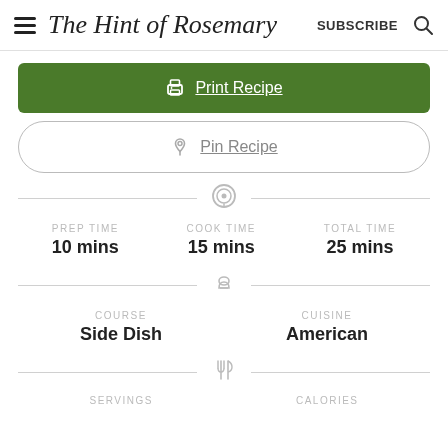The Hint of Rosemary  SUBSCRIBE
Print Recipe
Pin Recipe
PREP TIME 10 mins  COOK TIME 15 mins  TOTAL TIME 25 mins
COURSE Side Dish  CUISINE American
SERVINGS  CALORIES